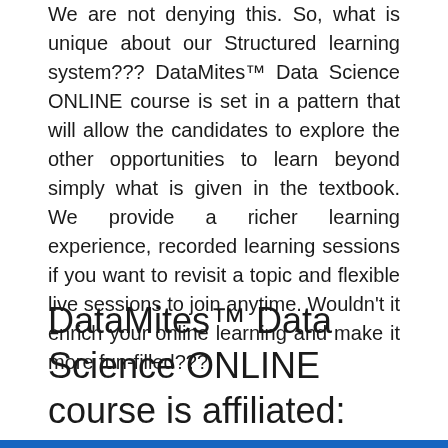We are not denying this. So, what is unique about our Structured learning system??? DataMites™ Data Science ONLINE course is set in a pattern that will allow the candidates to explore the other opportunities to learn beyond simply what is given in the textbook. We provide a richer learning experience, recorded learning sessions if you want to revisit a topic and flexible live sessions to join anytime. Wouldn't it enrich your online learning and make it more fun-filled???
DataMites™ Data Science ONLINE course is affiliated: